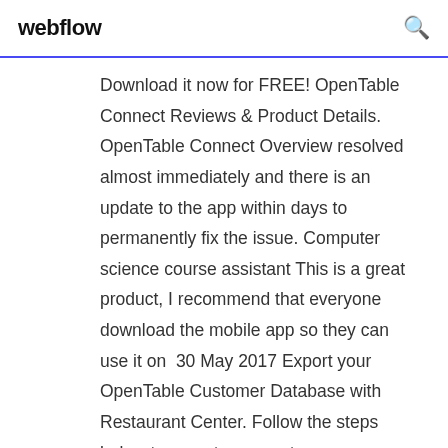webflow
Download it now for FREE! OpenTable Connect Reviews & Product Details. OpenTable Connect Overview resolved almost immediately and there is an update to the app within days to permanently fix the issue. Computer science course assistant This is a great product, I recommend that everyone download the mobile app so they can use it on  30 May 2017 Export your OpenTable Customer Database with Restaurant Center. Follow the steps below to export your customer database from the Open  18 Nov 2015 have · Design ResourcesDownload UI kits, mockups, icons, and more—free! Chances are you've used OpenTable to find a place to eat and then make